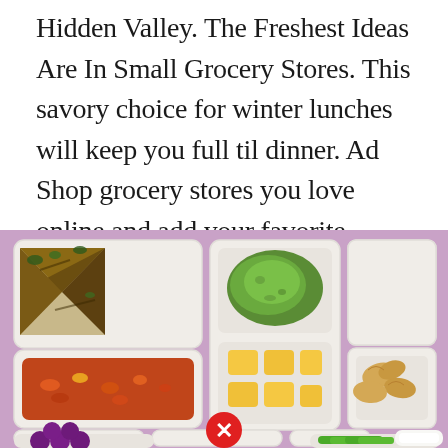Hidden Valley. The Freshest Ideas Are In Small Grocery Stores. This savory choice for winter lunches will keep you full til dinner. Ad Shop grocery stores you love online and add your favorite items. Ad Short On Time.
[Figure (photo): Photo of multiple bento-style lunch boxes on a pink/mauve background. Boxes contain quesadilla slices, guacamole, pineapple chunks, corn on the cob, watermelon slices, strawberries, black bean salsa, tortilla chips, grapes, crackers, snap peas, and a white dipping sauce. A red X button is visible in the lower center.]